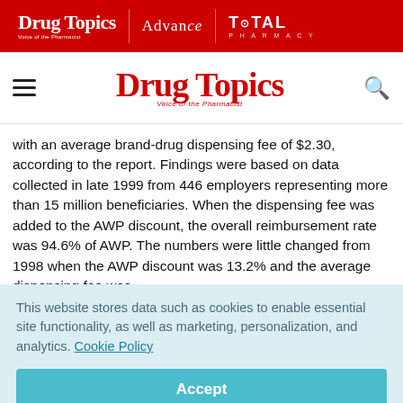Drug Topics | Advance | TOTAL PHARMACY
[Figure (logo): Drug Topics logo with navigation bar including hamburger menu and search icon]
with an average brand-drug dispensing fee of $2.30, according to the report. Findings were based on data collected in late 1999 from 446 employers representing more than 15 million beneficiaries. When the dispensing fee was added to the AWP discount, the overall reimbursement rate was 94.6% of AWP. The numbers were little changed from 1998 when the AWP discount was 13.2% and the average dispensing fee was
This website stores data such as cookies to enable essential site functionality, as well as marketing, personalization, and analytics. Cookie Policy
Accept
Deny